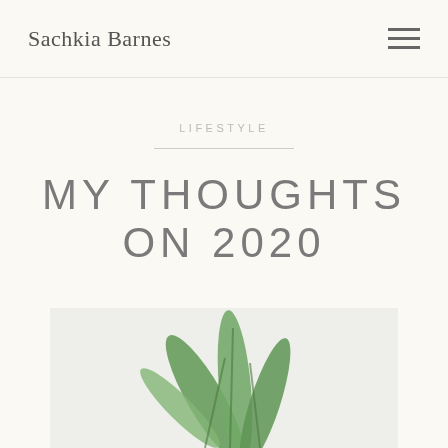Sachkia Barnes
LIFESTYLE
MY THOUGHTS ON 2020
[Figure (photo): A close-up photo of green plant leaves against a light background, partially visible at the bottom of the page]